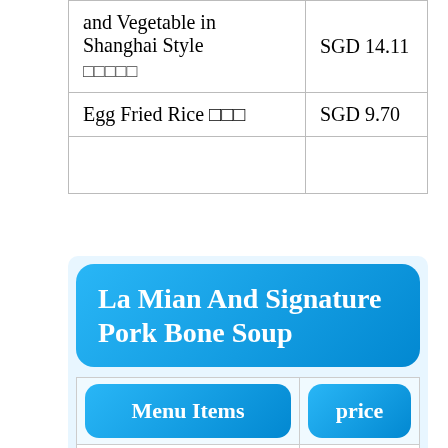| Menu Item | Price |
| --- | --- |
| and Vegetable in Shanghai Style □□□□□ | SGD 14.11 |
| Egg Fried Rice □□□ | SGD 9.70 |
La Mian And Signature Pork Bone Soup
| Menu Items | price |
| --- | --- |
| La Mian with Crispy Pork Chop in Signature Pork Bone Soup □□ | SGD 15.31 |